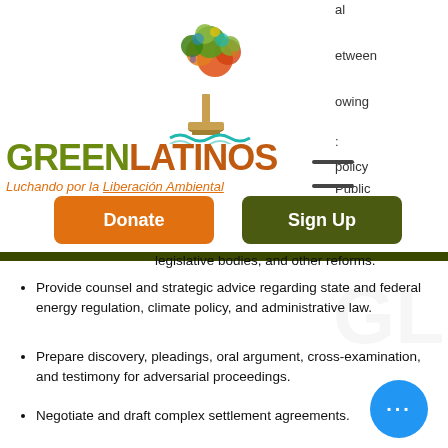[Figure (logo): GreenLatinos tree logo with colorful foliage and Greek column base, with teal wave decorative element]
[Figure (logo): GreenLatinos text logo — GREEN in olive green, LATINOS in burnt orange, tagline: Luchando por la Liberación Ambiental]
[Figure (other): Donate button (orange) and Sign Up button (dark olive green)]
legislative bodies, and other reforms. (truncated)
Provide counsel and strategic advice regarding state and federal energy regulation, climate policy, and administrative law.
Prepare discovery, pleadings, oral argument, cross-examination, and testimony for adversarial proceedings.
Negotiate and draft complex settlement agreements.
Provide legal and strategic business advice on non-regulatory matters as needed.
Build trust and leadership relationships with representatives of regulated utilities, regulators, consumer advocates, clean energy and environmental advocates and